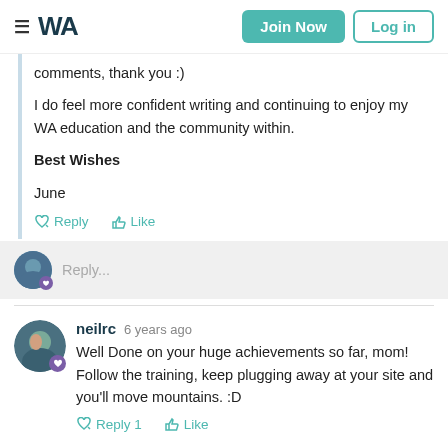WA | Join Now | Log in
comments, thank you :)
I do feel more confident writing and continuing to enjoy my WA education and the community within.
Best Wishes
June
Reply  Like
Reply...
neilrc  6 years ago
Well Done on your huge achievements so far, mom! Follow the training, keep plugging away at your site and you'll move mountains. :D
Reply 1  Like